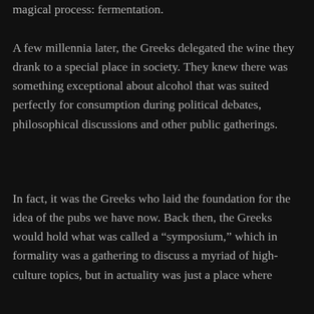magical process: fermentation.
A few millennia later, the Greeks delegated the wine they drank to a special place in society. They knew there was something exceptional about alcohol that was suited perfectly for consumption during political debates, philosophical discussions and other public gatherings.
In fact, it was the Greeks who laid the foundation for the idea of the pubs we have now. Back then, the Greeks would hold what was called a “symposium,” which in formality was a gathering to discuss a myriad of high-culture topics, but in actuality was just a place where